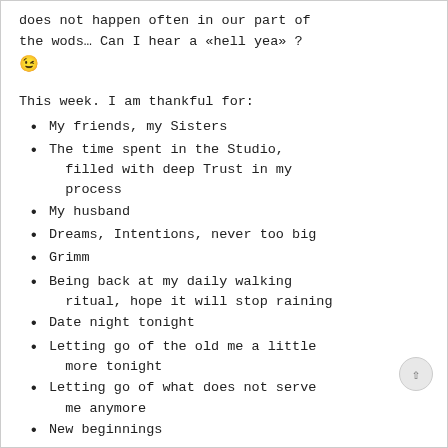does not happen often in our part of the wods… Can I hear a «hell yea» ? 😉
This week. I am thankful for:
My friends, my Sisters
The time spent in the Studio, filled with deep Trust in my process
My husband
Dreams, Intentions, never too big
Grimm
Being back at my daily walking ritual, hope it will stop raining
Date night tonight
Letting go of the old me a little more tonight
Letting go of what does not serve me anymore
New beginnings
Understanding teachers
Getting started today...